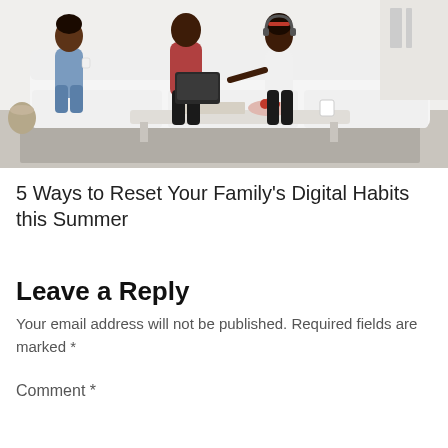[Figure (photo): Family of three sitting on a white sofa in a bright living room; a woman holding a cup, a man holding a laptop, and a child/teen leaning toward him; a coffee table in front with a book, fruits, and a beverage.]
5 Ways to Reset Your Family's Digital Habits this Summer
Leave a Reply
Your email address will not be published. Required fields are marked *
Comment *